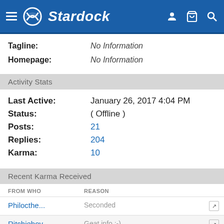Stardock
Tagline: No Information
Homepage: No Information
Activity Stats
Last Active: January 26, 2017 4:04 PM
Status: ( Offline )
Posts: 21
Replies: 204
Karma: 10
Recent Karma Received
| FROM WHO | REASON |  |
| --- | --- | --- |
| Philocthe... | Seconded | ↗ |
| Ritchieboy | Geat info :-) | ↗ |